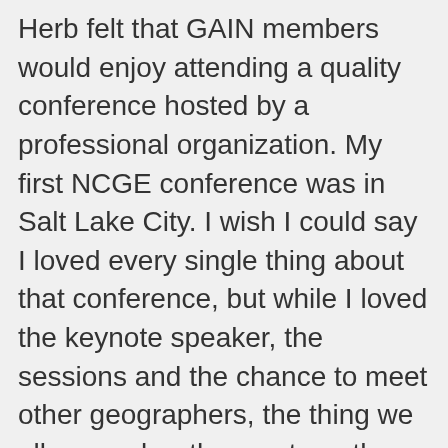Herb felt that GAIN members would enjoy attending a quality conference hosted by a professional organization. My first NCGE conference was in Salt Lake City. I wish I could say I loved every single thing about that conference, but while I loved the keynote speaker, the sessions and the chance to meet other geographers, the thing we all remember the most are the terrible beds. I slept in a hammock in the Peruvian Amazon that was more supportive than that bed. However, soft mattress aside, I knew that NCGE was an organization that I would belong to for a long time to come. Since then, I have attended numerous NCGE conferences, including Denver and Washington. I was supposed to present in Memphis, but an emergency appendectomy just